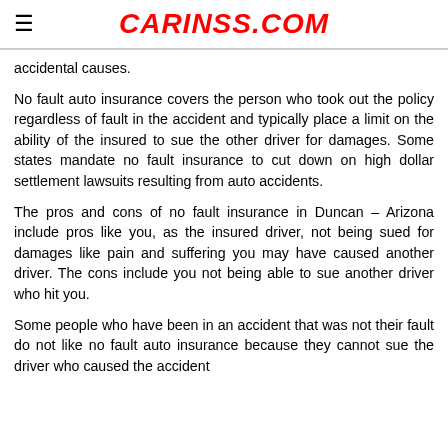CARINSS.COM
accidental causes.
No fault auto insurance covers the person who took out the policy regardless of fault in the accident and typically place a limit on the ability of the insured to sue the other driver for damages. Some states mandate no fault insurance to cut down on high dollar settlement lawsuits resulting from auto accidents.
The pros and cons of no fault insurance in Duncan – Arizona include pros like you, as the insured driver, not being sued for damages like pain and suffering you may have caused another driver. The cons include you not being able to sue another driver who hit you.
Some people who have been in an accident that was not their fault do not like no fault auto insurance because they cannot sue the driver who caused the accident...